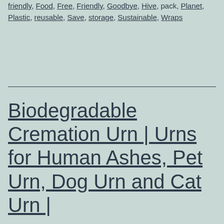friendly, Food, Free, Friendly, Goodbye, Hive, pack, Planet, Plastic, reusable, Save, storage, Sustainable, Wraps
Biodegradable Cremation Urn | Urns for Human Ashes, Pet Urn, Dog Urn and Cat Urn |